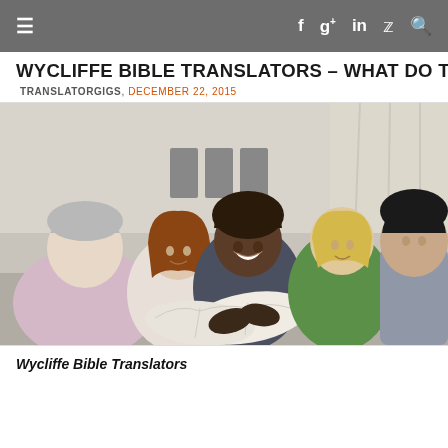Navigation bar with hamburger menu and social icons: f, g+, in, twitter, search
WYCLIFFE BIBLE TRANSLATORS – WHAT DO THEY R
TRANSLATORGIGS, DECEMBER 22, 2015
[Figure (photo): Group of five adults sitting in a circle, some holding open books/Bibles, appearing to be in a Bible study session in a room with chairs in the background.]
Wycliffe Bible Translators